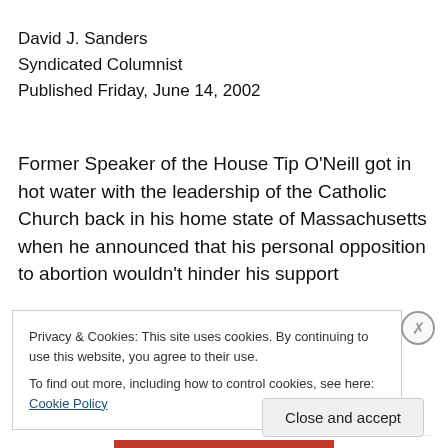David J. Sanders
Syndicated Columnist
Published Friday, June 14, 2002
Former Speaker of the House Tip O'Neill got in hot water with the leadership of the Catholic Church back in his home state of Massachusetts when he announced that his personal opposition to abortion wouldn't hinder his support
Privacy & Cookies: This site uses cookies. By continuing to use this website, you agree to their use.
To find out more, including how to control cookies, see here: Cookie Policy
Close and accept